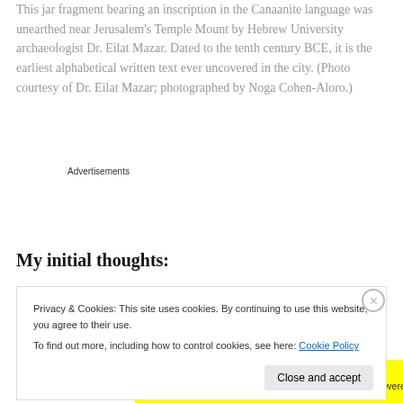This jar fragment bearing an inscription in the Canaanite language was unearthed near Jerusalem's Temple Mount by Hebrew University archaeologist Dr. Eilat Mazar. Dated to the tenth century BCE, it is the earliest alphabetical written text ever uncovered in the city. (Photo courtesy of Dr. Eilat Mazar; photographed by Noga Cohen-Aloro.)
[Figure (other): Yellow advertisement banner reading 'Share, Discuss,' with 'Powered by' WordPress logo on the right]
My initial thoughts:
Privacy & Cookies: This site uses cookies. By continuing to use this website, you agree to their use. To find out more, including how to control cookies, see here: Cookie Policy